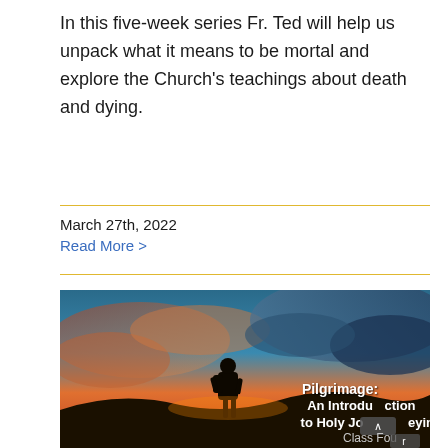In this five-week series Fr. Ted will help us unpack what it means to be mortal and explore the Church's teachings about death and dying.
March 27th, 2022
Read More >
[Figure (photo): Silhouette of a person with a backpack standing on a hill against a dramatic sunset sky with orange and blue clouds. Text overlay reads: 'Pilgrimage: An Introduction to Holy Journeying Class Four']